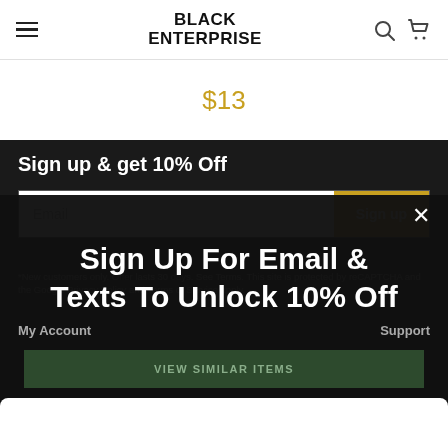BLACK ENTERPRISE
$13
Sign up & get 10% Off
Email
Sign up
*New customers only. Offer lasts 30 days. See Terms. This site is protected by reCAPTCHA and the Google Privacy Policy and Terms of Service apply.
Sign Up For Email & Texts To Unlock 10% Off
My Account
Support
VIEW SIMILAR ITEMS